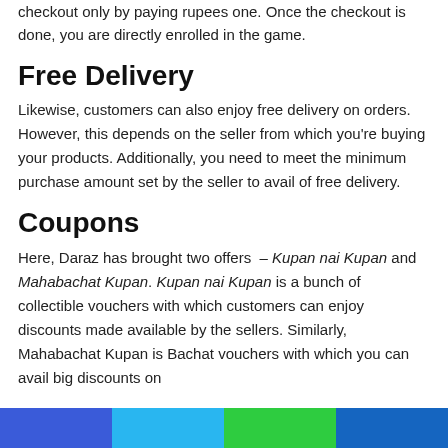checkout only by paying rupees one. Once the checkout is done, you are directly enrolled in the game.
Free Delivery
Likewise, customers can also enjoy free delivery on orders. However, this depends on the seller from which you're buying your products. Additionally, you need to meet the minimum purchase amount set by the seller to avail of free delivery.
Coupons
Here, Daraz has brought two offers – Kupan nai Kupan and Mahabachat Kupan. Kupan nai Kupan is a bunch of collectible vouchers with which customers can enjoy discounts made available by the sellers. Similarly, Mahabachat Kupan is Bachat vouchers with which you can avail big discounts on